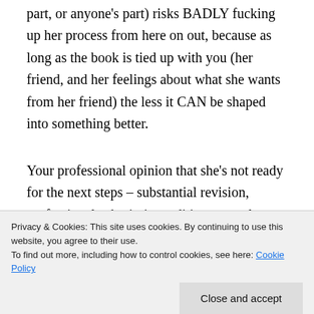part, or anyone's part) risks BADLY fucking up her process from here on out, because as long as the book is tied up with you (her friend, and her feelings about what she wants from her friend) the less it CAN be shaped into something better.
Your professional opinion that she's not ready for the next steps – substantial revision, professional submission, editing – are almost certainly dead on. At this stage she would probably benefit most from a writer's group and/or a class in the genre she wants to work in,
Privacy & Cookies: This site uses cookies. By continuing to use this website, you agree to their use.
To find out more, including how to control cookies, see here: Cookie Policy
career! 'Terrible' books succeed all the time. As